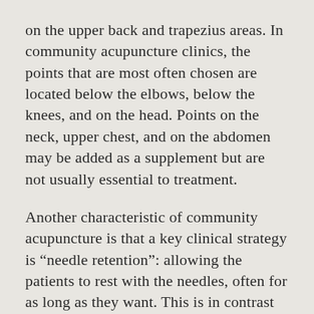on the upper back and trapezius areas. In community acupuncture clinics, the points that are most often chosen are located below the elbows, below the knees, and on the head. Points on the neck, upper chest, and on the abdomen may be added as a supplement but are not usually essential to treatment.
Another characteristic of community acupuncture is that a key clinical strategy is “needle retention”: allowing the patients to rest with the needles, often for as long as they want. This is in contrast to clinical strategies that rely on the practitioner stimulating the needles by twisting, thrusting, and/or twirling them. Strong and deep needle stimulation over organs is more likely to lead to organ puncture. Needle retention, by contrast, often involves shallow